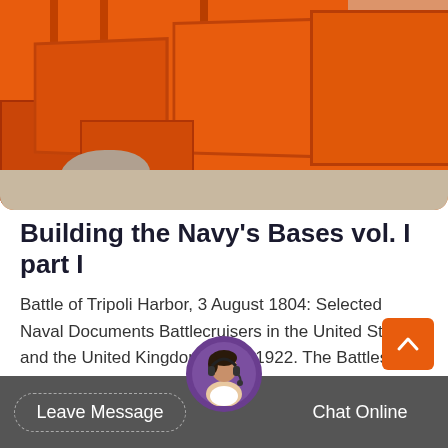[Figure (photo): Large orange industrial metal equipment/bins photographed outdoors, prominent orange construction or mining containers/buckets stacked together with a stone and building visible in the background]
Building the Navy's Bases vol. I part I
Battle of Tripoli Harbor, 3 August 1804: Selected Naval Documents Battlecruisers in the United States and the United Kingdom, 1902-1922. The Battles of Cape Esperance 11 October 1942 and Santa Cruz Islands 26 October 1942